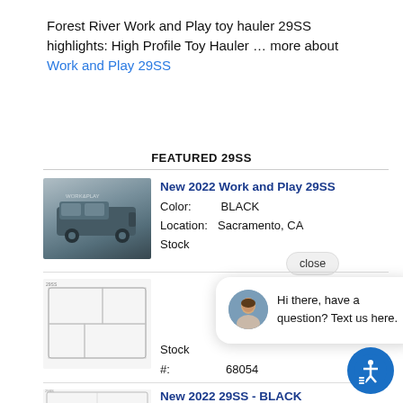Forest River Work and Play toy hauler 29SS highlights: High Profile Toy Hauler … more about Work and Play 29SS
FEATURED 29SS
[Figure (photo): Photo of a Work and Play RV toy hauler from front angle]
New 2022 Work and Play 29SS
Color: BLACK
Location: Sacramento, CA
Stock
[Figure (photo): Floor plan diagram of RV]
Stock #: 68054
[Figure (screenshot): Chat popup: Hi there, have a question? Text us here.]
[Figure (photo): Floor plan diagram of second RV listing]
New 2022 29SS - BLACK
Color: BLACK